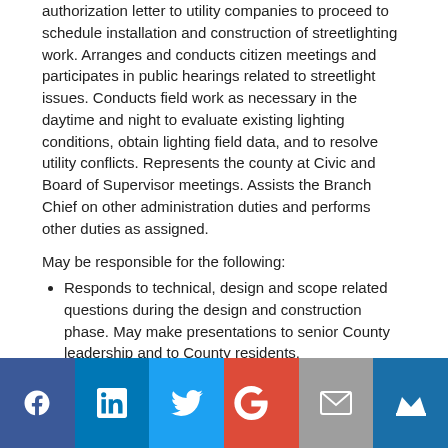authorization letter to utility companies to proceed to schedule installation and construction of streetlighting work. Arranges and conducts citizen meetings and participates in public hearings related to streetlight issues. Conducts field work as necessary in the daytime and night to evaluate existing lighting conditions, obtain lighting field data, and to resolve utility conflicts. Represents the county at Civic and Board of Supervisor meetings. Assists the Branch Chief on other administration duties and performs other duties as assigned.
May be responsible for the following:
Responds to technical, design and scope related questions during the design and construction phase. May make presentations to senior County leadership and to County residents.
Able to work in a fast-paced collaborative team environment; and provide outstanding customer service to
[Figure (infographic): Social media sharing bar with icons for Facebook, LinkedIn, Twitter, Google+, Email, and a crown/newsletter icon]